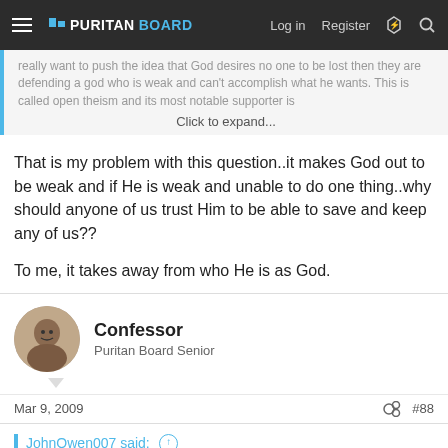PURITANBOARD — Log in | Register
really want to push the idea that God desires no one to be lost then they are defending a god who is weak and can't accomplish what he wants. This is called open theism and its most notable supporter is
Click to expand...
That is my problem with this question..it makes God out to be weak and if He is weak and unable to do one thing..why should anyone of us trust Him to be able to save and keep any of us??

To me, it takes away from who He is as God.
Confessor
Puritan Board Senior
Mar 9, 2009
#88
JohnOwen007 said: